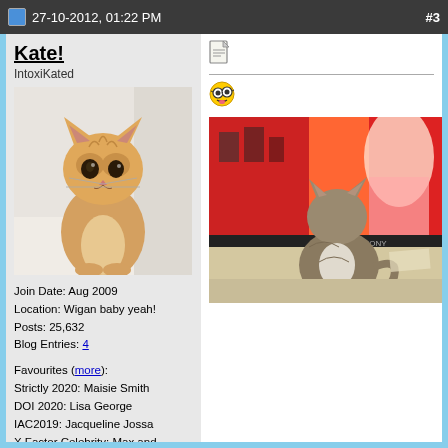27-10-2012, 01:22 PM  #3
Kate!
IntoxiKated
[Figure (photo): Orange tabby kitten standing upright against a wall]
Join Date: Aug 2009
Location: Wigan baby yeah!
Posts: 25,632
Blog Entries: 4
Favourites (more):
Strictly 2020: Maisie Smith
DOI 2020: Lisa George
IAC2019: Jacqueline Jossa
X Factor Celebrity: Max and Harvey
[Figure (infographic): Award badges: 10, 20k, 5, D, N, 10k and D black]
Total Awards: 7
[Figure (photo): Cat sitting in front of a television screen]
[Figure (illustration): Crazy face emoji]
[Figure (illustration): Document/note icon]